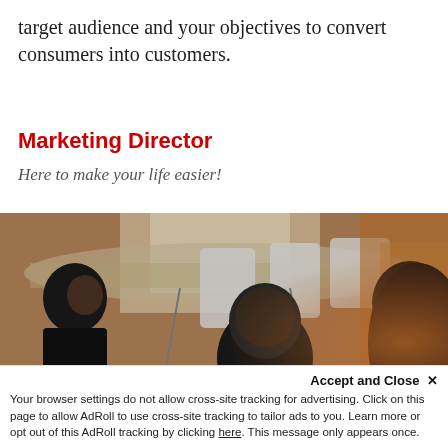target audience and your objectives to convert consumers into customers.
Marketing Director
Here to make your life easier!
[Figure (photo): Office meeting scene with people seated around a table; a woman on the left is smiling, a bald man is seen from behind in the center, and another person is partially visible on the right.]
Accept and Close ✕
Your browser settings do not allow cross-site tracking for advertising. Click on this page to allow AdRoll to use cross-site tracking to tailor ads to you. Learn more or opt out of this AdRoll tracking by clicking here. This message only appears once.